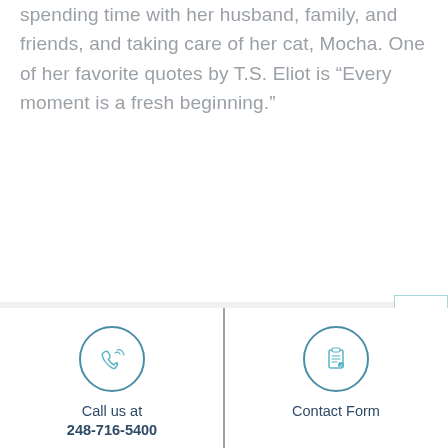spending time with her husband, family, and friends, and taking care of her cat, Mocha. One of her favorite quotes by T.S. Eliot is “Every moment is a fresh beginning.”
[Figure (other): Scroll-to-top button with a light teal upward chevron icon on a white background with teal border]
Call us at 248-716-5400 | Contact Form